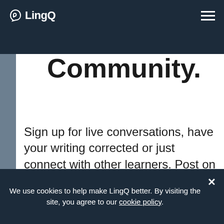LingQ
Community.
Sign up for live conversations, have your writing corrected or just connect with other learners. Post on our Czech Forum and get answers from our community of tutors and learners. Make your
We use cookies to help make LingQ better. By visiting the site, you agree to our cookie policy.